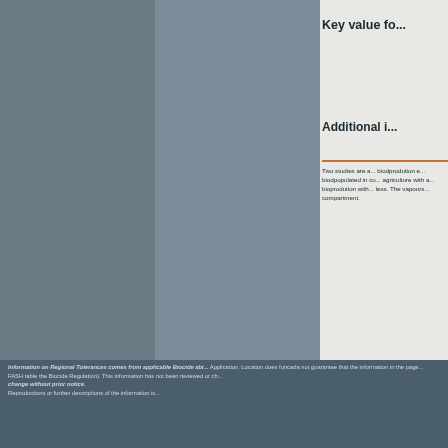Key value fo...
Additional i...
Two studies are a... biodprodution e... biodpopulated in ... agriculture with ... bioprodution with ... less. The vapours... compartment.
Information on Regional Tolerances comes from applicable Biocide abi... Application. Location does funcada not guarantee that the information in the page... FASH table the Biocide Regulation). This information has not been reviewed or ... change without prior notice. Reproductions or further descriptions of the information is...